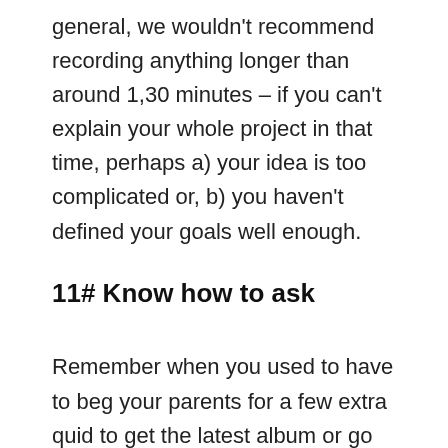general, we wouldn't recommend recording anything longer than around 1,30 minutes – if you can't explain your whole project in that time, perhaps a) your idea is too complicated or, b) you haven't defined your goals well enough.
11# Know how to ask
Remember when you used to have to beg your parents for a few extra quid to get the latest album or go to the cinema? You would be very careful how you asked, knowing that if you didn't fight your cause well enough, you wouldn't get a penny. Well, that experience is entirely relevant right now. People are much more likely to invest in you if they know exactly where their pennies